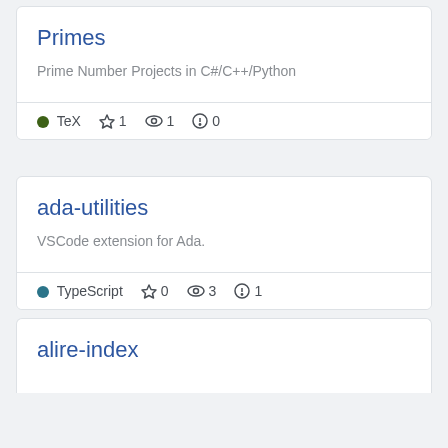Primes
Prime Number Projects in C#/C++/Python
TeX  ★1  👁1  ⚠0
ada-utilities
VSCode extension for Ada.
TypeScript  ★0  👁3  ⚠1
alire-index